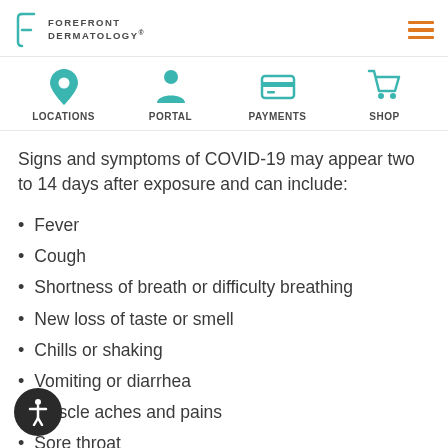FOREFRONT DERMATOLOGY
[Figure (infographic): Navigation icons: Locations (map pin), Portal (person), Payments (credit card), Shop (shopping cart)]
Signs and symptoms of COVID-19 may appear two to 14 days after exposure and can include:
Fever
Cough
Shortness of breath or difficulty breathing
New loss of taste or smell
Chills or shaking
Vomiting or diarrhea
Muscle aches and pains
Sore throat